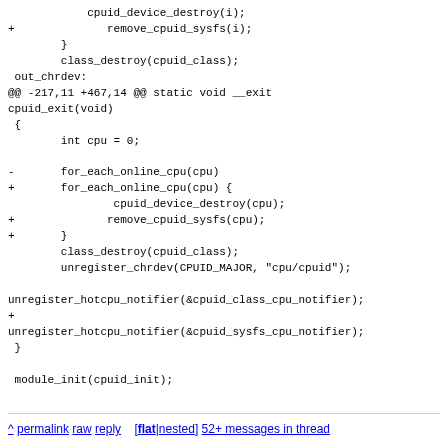code diff showing cpuid_device_destroy, remove_cpuid_sysfs, class_destroy, out_chrdev label, @@ -217,11 +467,14 @@ static void __exit cpuid_exit(void) function with int cpu=0, for_each_online_cpu loops, cpuid_device_destroy(cpu), remove_cpuid_sysfs(cpu), class_destroy, unregister_chrdev, unregister_hotcpu_notifier calls, module_init(cpuid_init)
^ permalink raw reply [flat|nested] 52+ messages in thread